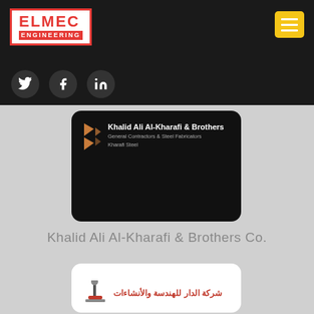[Figure (logo): ELMEC Engineering logo - red border white background with ELMEC in red and ENGINEERING on dark red banner]
[Figure (infographic): Navigation hamburger menu button in yellow/gold]
[Figure (infographic): Social media icons: Twitter, Facebook, LinkedIn on dark background]
[Figure (logo): Khalid Ali Al-Kharafi & Brothers company card on black background with KS logo]
Khalid Ali Al-Kharafi & Brothers Co.
[Figure (logo): Al-Dar Engineering and Construction company logo card on white background with Arabic text]